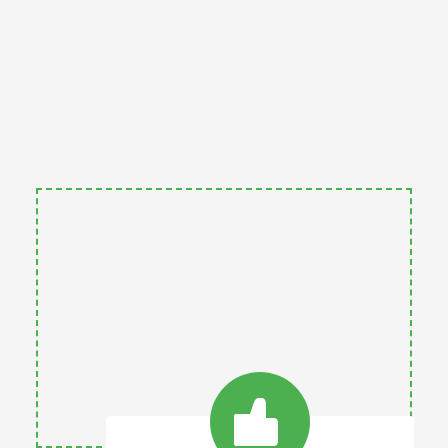[Figure (illustration): Green dashed border box containing a card with a green circle thumbs-up icon, 'Pros' title, and a checkmark list item about noise cancellation.]
Pros
It comes with a powerful mechanism for noise cancellation.